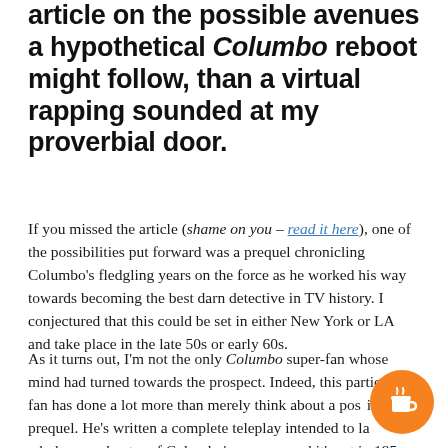article on the possible avenues a hypothetical Columbo reboot might follow, than a virtual rapping sounded at my proverbial door.
If you missed the article (shame on you – read it here), one of the possibilities put forward was a prequel chronicling Columbo's fledgling years on the force as he worked his way towards becoming the best darn detective in TV history. I conjectured that this could be set in either New York or LA and take place in the late 50s or early 60s.
As it turns out, I'm not the only Columbo super-fan whose mind had turned towards the prospect. Indeed, this particular fan has done a lot more than merely think about a possible prequel. He's written a complete teleplay intended to launch a whole new chapter of Columbo's career – and it's set in 1957